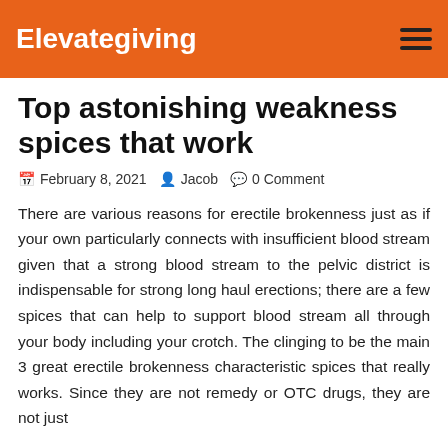Elevategiving
Top astonishing weakness spices that work
February 8, 2021   Jacob   0 Comment
There are various reasons for erectile brokenness just as if your own particularly connects with insufficient blood stream given that a strong blood stream to the pelvic district is indispensable for strong long haul erections; there are a few spices that can help to support blood stream all through your body including your crotch. The clinging to be the main 3 great erectile brokenness characteristic spices that really works. Since they are not remedy or OTC drugs, they are not just